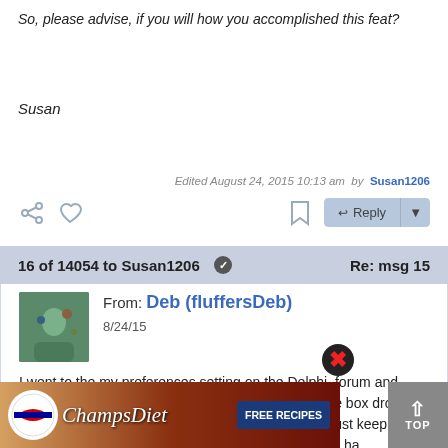So, please advise, if you will how you accomplished this feat?
Susan
Edited August 24, 2015 10:13 am  by  Susan1206
16 of 14054 to Susan1206   Re: msg 15
From: Deb (fluffersDeb)
8/24/15
I went to the my preferences setting on the Delphi  forum and then clicked on the that picture icon then a message box dropped down and I was able to upload one of my photos. Just keep clicking on stuff you will eventually figure it out. I still ha    ome time to get